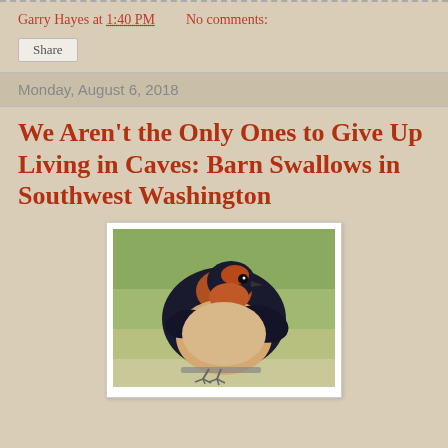Garry Hayes at 1:40 PM    No comments:
Share
Monday, August 6, 2018
We Aren't the Only Ones to Give Up Living in Caves: Barn Swallows in Southwest Washington
[Figure (photo): A barn swallow bird perched on a surface, photographed close-up. The bird has dark blue-black back and wings, a rust/orange throat and forehead, and a pale buffy-white belly. Green blurred background.]